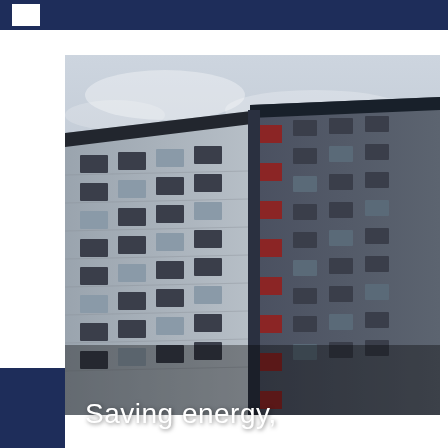[Figure (photo): Upward-angle photograph of a modern high-rise residential or commercial building showing two facades meeting at a corner. The building has a grey and dark colour scheme with red accent panels running vertically in the centre. Multiple floors of windows are visible. The sky in the background is overcast/cloudy.]
Saving energy,